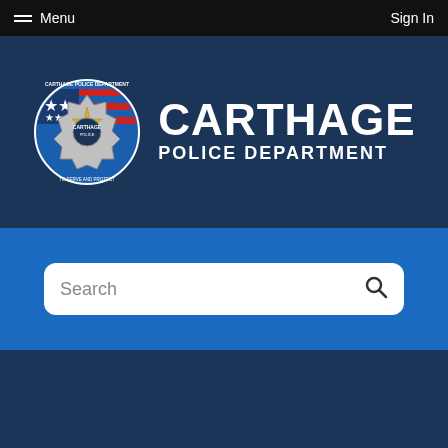Menu   Sign In
[Figure (logo): Carthage Police Department logo with badge seal and text: CARTHAGE POLICE DEPARTMENT]
Search